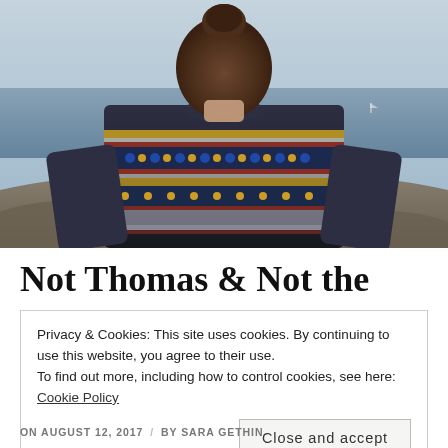[Figure (photo): Photo of a child seen from behind, wearing a colorful patterned fair isle sweater, looking out at the sea with a hazy sky and shoreline rocks visible.]
Not Thomas & Not the
Privacy & Cookies: This site uses cookies. By continuing to use this website, you agree to their use.
To find out more, including how to control cookies, see here: Cookie Policy
Close and accept
ON AUGUST 12, 2017 / BY SARA GETHIN